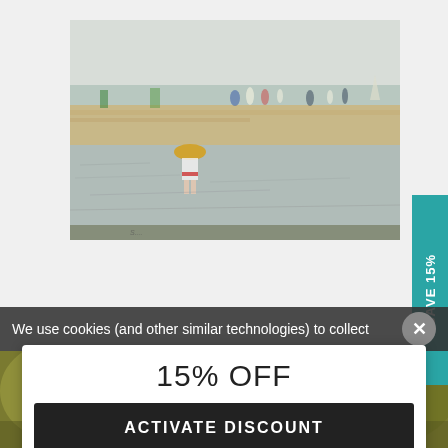[Figure (photo): Impressionist painting of a beach scene with figures, a child in foreground wearing a straw hat, calm water and horizon, muted pastel tones.]
SAVE 15%
We use cookies (and other similar technologies) to collect
15% OFF
ACTIVATE DISCOUNT